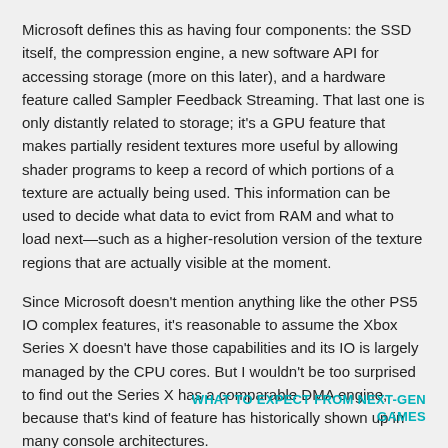Microsoft defines this as having four components: the SSD itself, the compression engine, a new software API for accessing storage (more on this later), and a hardware feature called Sampler Feedback Streaming. That last one is only distantly related to storage; it's a GPU feature that makes partially resident textures more useful by allowing shader programs to keep a record of which portions of a texture are actually being used. This information can be used to decide what data to evict from RAM and what to load next—such as a higher-resolution version of the texture regions that are actually visible at the moment.
Since Microsoft doesn't mention anything like the other PS5 IO complex features, it's reasonable to assume the Xbox Series X doesn't have those capabilities and its IO is largely managed by the CPU cores. But I wouldn't be too surprised to find out the Series X has a comparable DMA engine, because that's kind of feature has historically shown up in many console architectures.
SSD DETAILS: XBOX SERIES X AND PLAYSTATION 5
WHAT TO EXPECT FROM NEXT-GEN GAMES